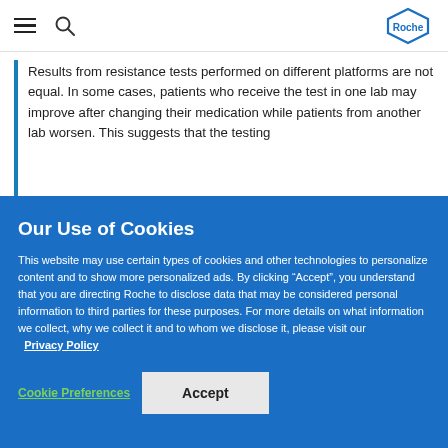Roche
Results from resistance tests performed on different platforms are not equal. In some cases, patients who receive the test in one lab may improve after changing their medication while patients from another lab worsen. This suggests that the testing
Our Use of Cookies
This website may use certain types of cookies and other technologies to personalize content and to show more personalized ads. By clicking “Accept”, you understand that you are directing Roche to disclose data that may be considered personal information to third parties for these purposes. For more details on what information we collect, why we collect it and to whom we disclose it, please visit our Privacy Policy
Cookie Preferences | Accept